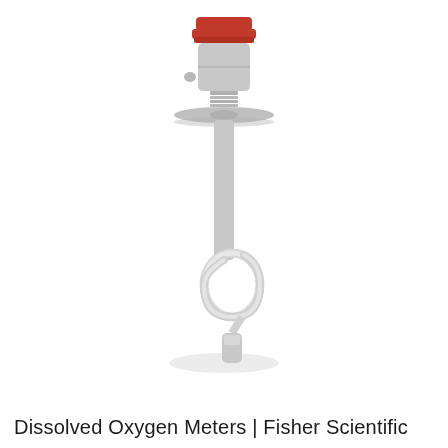[Figure (illustration): A dissolved oxygen meter probe/sensor device with a red cap on top of a gray cylindrical body, a flat circular flange/collar in the middle, a coiled white cable below, and a small rectangular sensor tip at the bottom. The device is shown on a white background with a subtle shadow.]
Dissolved Oxygen Meters | Fisher Scientific